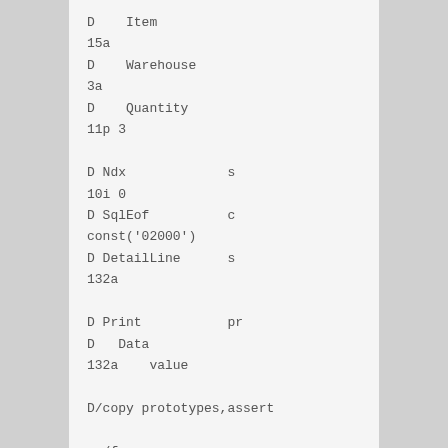D    Item
15a
D    Warehouse
3a
D    Quantity
11p 3

D Ndx             s
10i 0
D SqlEof          c
const('02000')
D DetailLine      s
132a

D Print           pr
D   Data
132a    value

D/copy prototypes,assert

  /free
     *inlr = *on;